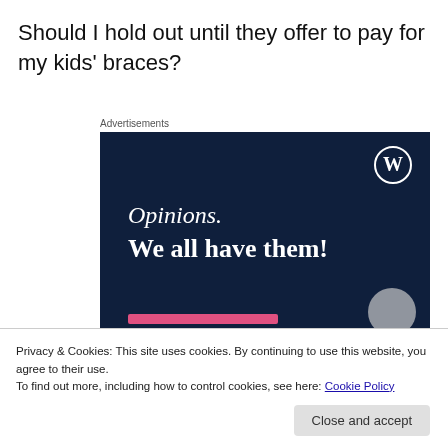Should I hold out until they offer to pay for my kids' braces?
Advertisements
[Figure (screenshot): WordPress advertisement banner on dark navy background showing 'Opinions. We all have them!' with WordPress logo in top right corner, pink button bar at bottom, and grey circle element.]
Privacy & Cookies: This site uses cookies. By continuing to use this website, you agree to their use.
To find out more, including how to control cookies, see here: Cookie Policy
Close and accept